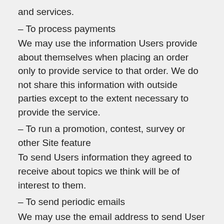and services.
– To process payments
We may use the information Users provide about themselves when placing an order only to provide service to that order. We do not share this information with outside parties except to the extent necessary to provide the service.
– To run a promotion, contest, survey or other Site feature
To send Users information they agreed to receive about topics we think will be of interest to them.
– To send periodic emails
We may use the email address to send User information and updates pertaining to their order. It may also be used to respond to their inquiries, questions, and/or other requests. If User decides to opt-in to our mailing list, they will receive emails that may include company news, updates, related product or service information, etc. If at any time the User would like to unsubscribe from receiving future emails, we